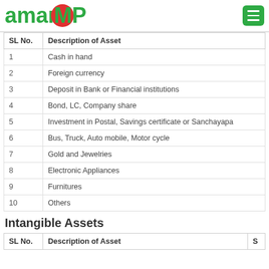amar MP [logo] [hamburger menu]
| SL No. | Description of Asset |
| --- | --- |
| 1 | Cash in hand |
| 2 | Foreign currency |
| 3 | Deposit in Bank or Financial institutions |
| 4 | Bond, LC, Company share |
| 5 | Investment in Postal, Savings certificate or Sanchayapa |
| 6 | Bus, Truck, Auto mobile, Motor cycle |
| 7 | Gold and Jewelries |
| 8 | Electronic Appliances |
| 9 | Furnitures |
| 10 | Others |
Intangible Assets
| SL No. | Description of Asset | S |
| --- | --- | --- |